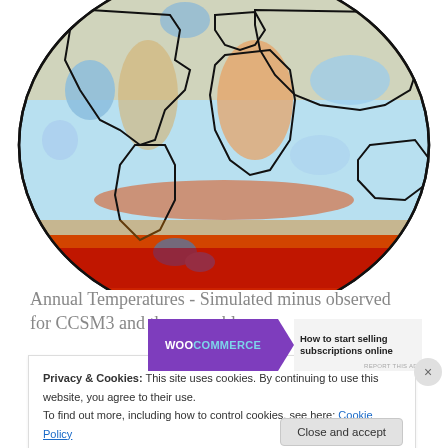[Figure (map): World map showing annual temperature anomalies (simulated minus observed) for CCSM3 and the ensemble. Colors range from blue (negative/cold bias) to red (positive/warm bias), with the southern ocean region showing strong red/warm anomalies.]
Annual Temperatures - Simulated minus observed for CCSM3 and the ensemble
[Figure (screenshot): WooCommerce advertisement banner: 'How to start selling subscriptions online']
Privacy & Cookies: This site uses cookies. By continuing to use this website, you agree to their use. To find out more, including how to control cookies, see here: Cookie Policy